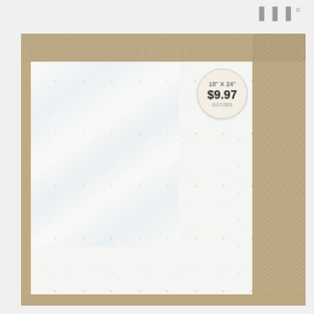[Figure (photo): Product photo showing a white speckled tile (18x24 inches) placed on a beige/tan textured carpet, partially wrapped in clear plastic packaging. A circular price sticker reads $9.97. A small logo appears in the upper right corner.]
$9.97
18" X 24"